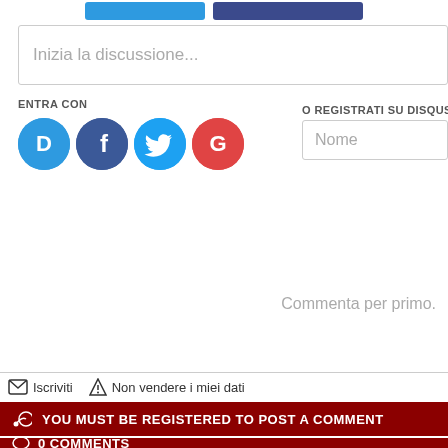[Figure (screenshot): Two partially visible social share/action buttons at the top of the page]
Inizia la discussione...
ENTRA CON
[Figure (logo): Social login icons: Disqus (blue speech bubble with D), Facebook (dark blue with F), Twitter (light blue with bird), Google (red with G)]
O REGISTRATI SU DISQUS
Nome
Commenta per primo.
Iscriviti
Non vendere i miei dati
YOU MUST BE REGISTERED TO POST A COMMENT
0 COMMENTS